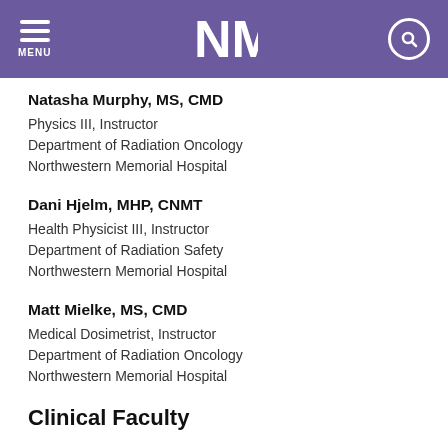MENU [NM logo] [search]
Natasha Murphy, MS, CMD
Physics III, Instructor
Department of Radiation Oncology
Northwestern Memorial Hospital
Dani Hjelm, MHP, CNMT
Health Physicist III, Instructor
Department of Radiation Safety
Northwestern Memorial Hospital
Matt Mielke, MS, CMD
Medical Dosimetrist, Instructor
Department of Radiation Oncology
Northwestern Memorial Hospital
Clinical Faculty
Bharat B. Mittal, MD, FACR, FASTRO
Chair and Professor